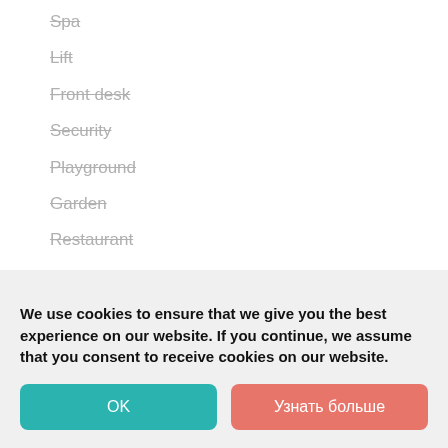Spa
Lift
Front desk
Security
Playground
Garden
Restaurant
Indoor pool
Jacuzzi
Sauna
Billiard room
Hairdresser
Pool bar
Lobby bar
We use cookies to ensure that we give you the best experience on our website. If you continue, we assume that you consent to receive cookies on our website.